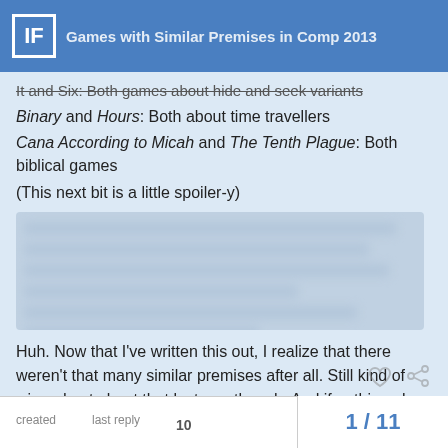IF | Games with Similar Premises in Comp 2013
It and Six: Both games about hide and seek variants
Binary and Hours: Both about time travellers
Cana According to Micah and The Tenth Plague: Both biblical games
(This next bit is a little spoiler-y)
[Figure (other): Blurred/redacted spoiler content block]
Huh. Now that I've written this out, I realize that there weren't that many similar premises after all. Still kind of wigged out about that last one though. And if nothing else, looking for similarities can be a fun little game. So what similarities between games have you guys found?
created   last reply   10   |   1 / 11